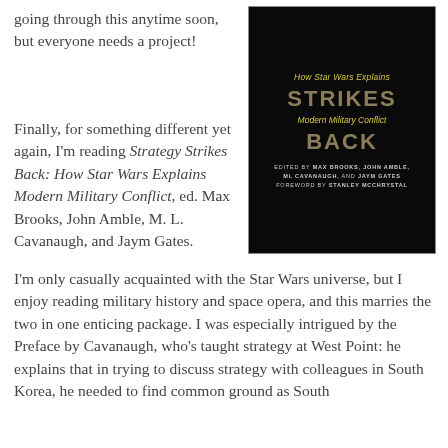going through this anytime soon, but everyone needs a project!
[Figure (photo): Book cover of 'Strategy Strikes Back: How Star Wars Explains Modern Military Conflict', edited by Max Brooks, John Amble, ML Cavanaugh, and Jaym Gates, foreword by Stanley McChrystal. Black cover with yellow and gold text.]
Finally, for something different yet again, I'm reading Strategy Strikes Back: How Star Wars Explains Modern Military Conflict, ed. Max Brooks, John Amble, M. L. Cavanaugh, and Jaym Gates. I'm only casually acquainted with the Star Wars universe, but I enjoy reading military history and space opera, and this marries the two in one enticing package. I was especially intrigued by the Preface by Cavanaugh, who's taught strategy at West Point: he explains that in trying to discuss strategy with colleagues in South Korea, he needed to find common ground as South